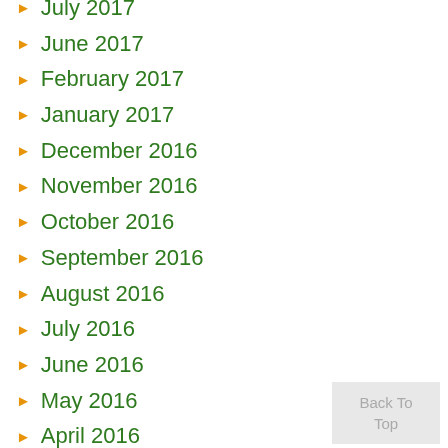July 2017
June 2017
February 2017
January 2017
December 2016
November 2016
October 2016
September 2016
August 2016
July 2016
June 2016
May 2016
April 2016
March 2016
February 2016
Back To Top